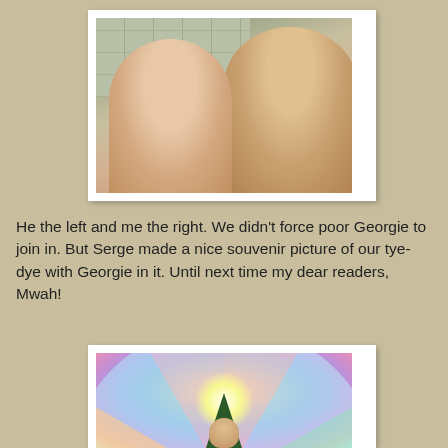[Figure (photo): Two shirtless men taking a selfie from below, smiling at the camera, with ceiling tiles visible in the background. The man on the left has his arm around the man on the right.]
He the left and me the right. We didn't force poor Georgie to join in. But Serge made a nice souvenir picture of our tye-dye with Georgie in it. Until next time my dear readers, Mwah!
[Figure (photo): A tie-dye fabric with colorful swirling patterns in blues, greens, yellows, pinks and purples. A small tree silhouette and a person's head is visible at the bottom center of the image.]